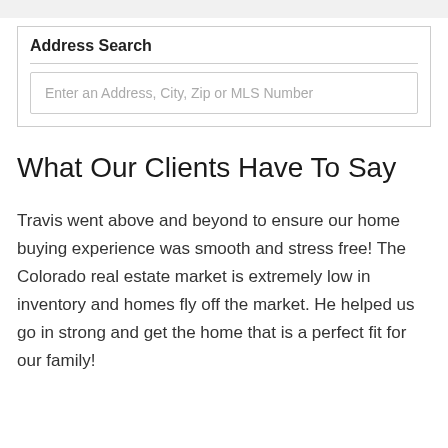Address Search
Enter an Address, City, Zip or MLS Number
What Our Clients Have To Say
Travis went above and beyond to ensure our home buying experience was smooth and stress free! The Colorado real estate market is extremely low in inventory and homes fly off the market. He helped us go in strong and get the home that is a perfect fit for our family!